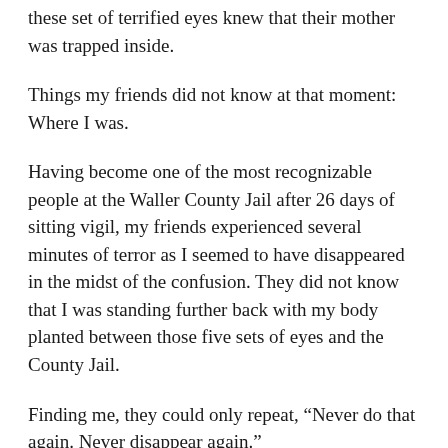these set of terrified eyes knew that their mother was trapped inside.
Things my friends did not know at that moment: Where I was.
Having become one of the most recognizable people at the Waller County Jail after 26 days of sitting vigil, my friends experienced several minutes of terror as I seemed to have disappeared in the midst of the confusion. They did not know that I was standing further back with my body planted between those five sets of eyes and the County Jail.
Finding me, they could only repeat, “Never do that again. Never disappear again.”
The people trapped inside the jail were eventually led out through another door. Amazingly, they had captured every second on tape on the little devices that Sandra Bland said were powerful enough to change things in this country: cell